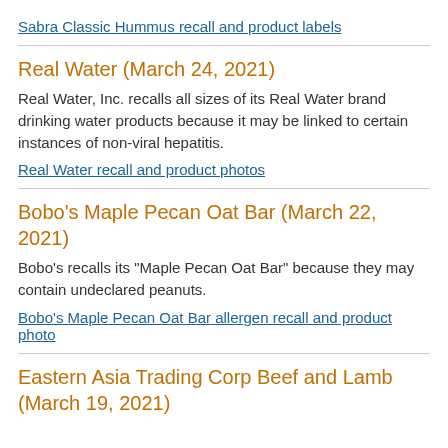Sabra Classic Hummus recall and product labels
Real Water (March 24, 2021)
Real Water, Inc. recalls all sizes of its Real Water brand drinking water products because it may be linked to certain instances of non-viral hepatitis.
Real Water recall and product photos
Bobo's Maple Pecan Oat Bar (March 22, 2021)
Bobo's recalls its "Maple Pecan Oat Bar" because they may contain undeclared peanuts.
Bobo's Maple Pecan Oat Bar allergen recall and product photo
Eastern Asia Trading Corp Beef and Lamb (March 19, 2021)